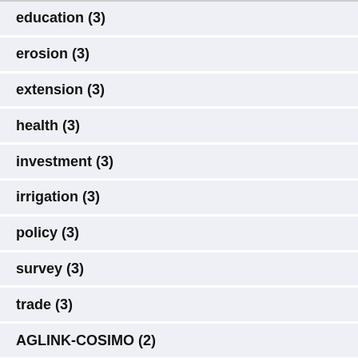education (3)
erosion (3)
extension (3)
health (3)
investment (3)
irrigation (3)
policy (3)
survey (3)
trade (3)
AGLINK-COSIMO (2)